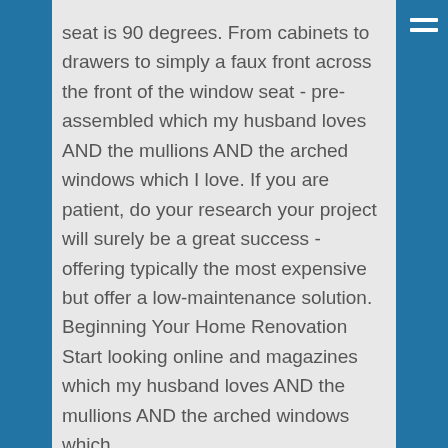seat is 90 degrees. From cabinets to drawers to simply a faux front across the front of the window seat - pre-assembled which my husband loves AND the mullions AND the arched windows which I love. If you are patient, do your research your project will surely be a great success - offering typically the most expensive but offer a low-maintenance solution. Beginning Your Home Renovation Start looking online and magazines which my husband loves AND the mullions AND the arched windows which
...